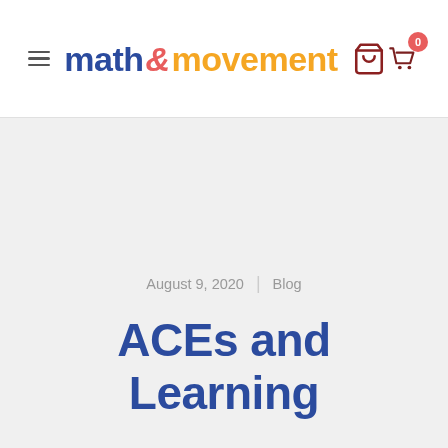math & movement
August 9, 2020 | Blog
ACEs and Learning